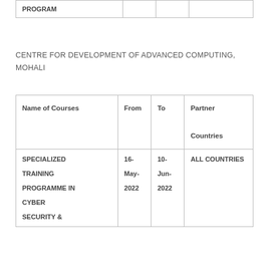| PROGRAM |  |  |  |
CENTRE FOR DEVELOPMENT OF ADVANCED COMPUTING, MOHALI
| Name of Courses | From | To | Partner Countries |
| --- | --- | --- | --- |
| SPECIALIZED TRAINING PROGRAMME IN CYBER SECURITY & | 16-May-2022 | 10-Jun-2022 | ALL COUNTRIES |